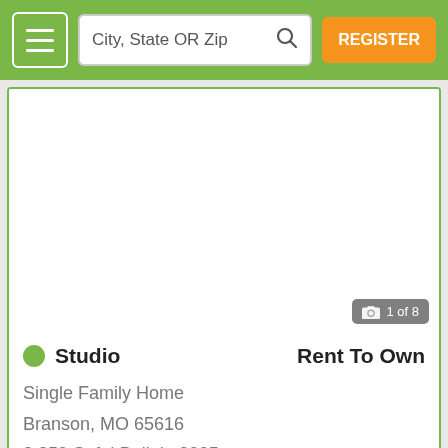City, State OR Zip | REGISTER
[Figure (screenshot): Property listing photo area showing white/blank image with '1 of 8' photo counter badge in bottom right]
Studio | Rent To Own
Single Family Home
Branson, MO 65616
2,359 Sqft | Built in 2005